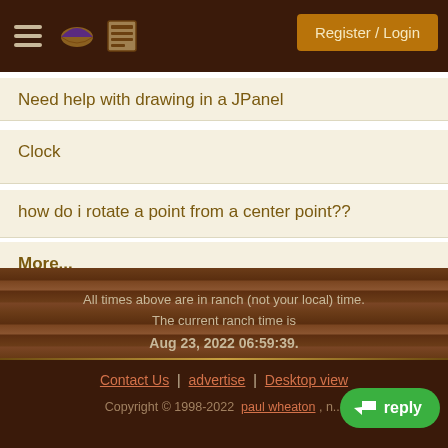Register / Login
Need help with drawing in a JPanel
Clock
how do i rotate a point from a center point??
More...
All times above are in ranch (not your local) time. The current ranch time is Aug 23, 2022 06:59:39.
Contact Us | advertise | Desktop view
Copyright © 1998-2022 paul wheaton , n...